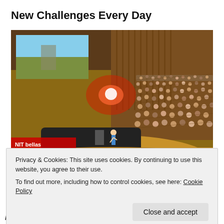New Challenges Every Day
[Figure (photo): Large auditorium with a speaker on a curved wooden stage, a projection screen showing a landscape, and a full audience of hundreds of people seated in curved rows.]
Privacy & Cookies: This site uses cookies. By continuing to use this website, you agree to their use.
To find out more, including how to control cookies, see here: Cookie Policy
Close and accept
immersed in new technology brings me back to my days at